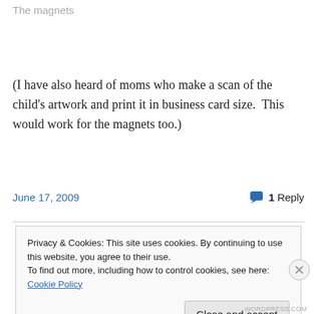The magnets
(I have also heard of moms who make a scan of the child's artwork and print it in business card size.  This would work for the magnets too.)
June 17, 2009    1 Reply
Privacy & Cookies: This site uses cookies. By continuing to use this website, you agree to their use.
To find out more, including how to control cookies, see here: Cookie Policy
Close and accept